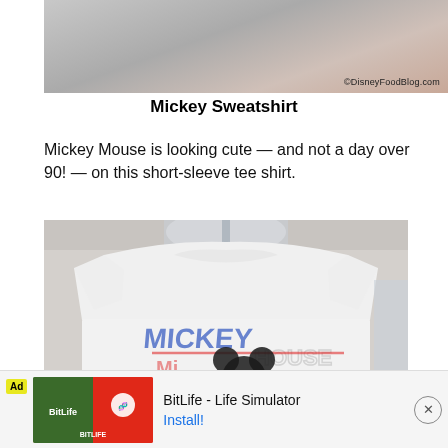[Figure (photo): Close-up photo of a person holding a gray sweatshirt, with watermark ©DisneyFoodBlog.com]
Mickey Sweatshirt
Mickey Mouse is looking cute — and not a day over 90! — on this short-sleeve tee shirt.
[Figure (photo): Photo of a white Mickey Mouse tee shirt on a hanger showing retro-style Mickey Mouse graphic with colorful lettering saying Mickey Mouse]
Ad BitLife - Life Simulator Install!